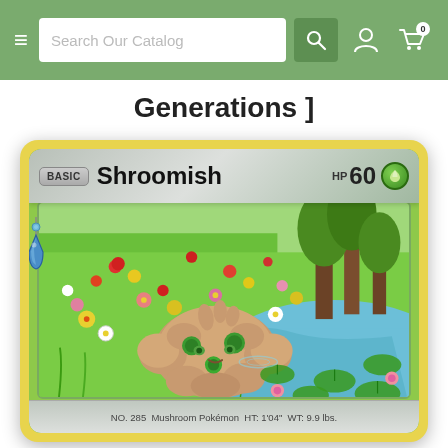Search Our Catalog
Generations ]
[Figure (illustration): Pokémon Trading Card — Shroomish. BASIC card, HP 60, Grass type. Illustration shows Shroomish resting in a colorful flower meadow next to a pond with lily pads. Card footer reads: NO. 285 Mushroom Pokémon HT: 1'04" WT: 9.9 lbs.]